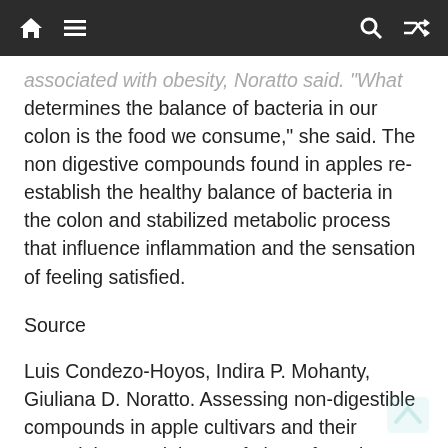Navigation bar with home, menu, search, and shuffle icons
associated with obesity, Noratto said. "What determines the balance of bacteria in our colon is the food we consume," she said. The non digestive compounds found in apples re-establish the healthy balance of bacteria in the colon and stabilized metabolic process that influence inflammation and the sensation of feeling satisfied.
Source
Luis Condezo-Hoyos, Indira P. Mohanty, Giuliana D. Noratto. Assessing non-digestible compounds in apple cultivars and their potential as modulators of obese faecal microbiota in vitro. Food Chemistry, 2014; 161: 208 DOI: 10.1016/j.foodchem.2014.03.122